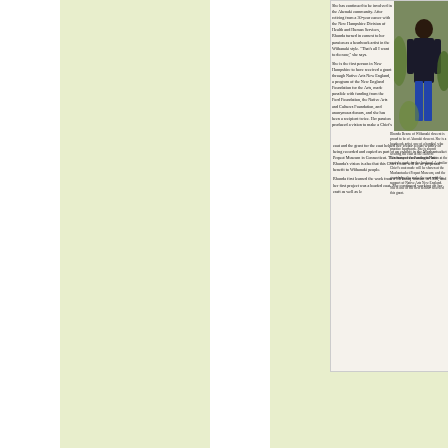[Figure (photo): Scanned newspaper clipping showing a photo of a person standing outdoors, with two columns of article text about Rhonda Besaw of Wôbanaki, a beadwork artist, and a photo caption. The article discusses her involvement in the Abenaki community, her grant from Native Arts New England, and her work making a Chief's coat.]
She has continued to be involved in the Abenaki community. After retiring from a 30-year career with the New Hampshire Division of Health and Human Services, Rhonda turned in earnest to her passion as a beadwork artist in the Wôbanaki style. "That's all I want to do now," she says.
She is the first person in New Hampshire to have received a grant through Native Arts New England, a program of the New England Foundation for the Arts, made possible with funding from the Ford Foundation, the Native Arts and Cultures Foundation, and anonymous donors, and she has been a recipient twice. Her passion produced a vision to make a Chief's
Rhonda Besaw of Wôbanaki descent is proud to be of Abenaki descent. She is a beadwork artist, one of a handful who practice beadwork. She is shown wearing the coat at the Harvest Ceremony at the Penobscot Nation at the coat she made for her husband. A similar Chief's coat made will be shown at the Mashantucket Pequot Museum, and the grant helped to make the coat with the support of Native Arts New England. She is one of the first to have received this grant.
coat and the grant for the coat helped her create a coat worthy of being recorded and copied as part of an exhibit in the Mashantucket Pequot Museum in Connecticut. This honor is meaningful but Rhonda's vision is also that this Chief's coat will be of perpetual benefit to Wôbanaki people.
Rhonda first learned the work from a Mi'kmaq woman in 1996, and her first project was a beaded coat. She continued working on her craft as well as le